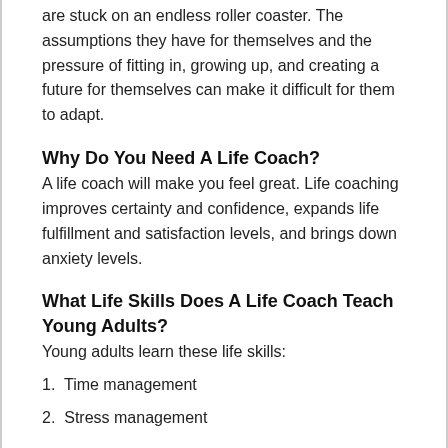are stuck on an endless roller coaster. The assumptions they have for themselves and the pressure of fitting in, growing up, and creating a future for themselves can make it difficult for them to adapt.
Why Do You Need A Life Coach?
A life coach will make you feel great. Life coaching improves certainty and confidence, expands life fulfillment and satisfaction levels, and brings down anxiety levels.
What Life Skills Does A Life Coach Teach Young Adults?
Young adults learn these life skills:
1.  Time management
2.  Stress management